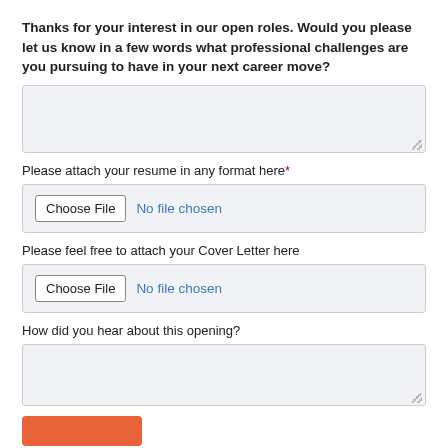Thanks for your interest in our open roles. Would you please let us know in a few words what professional challenges are you pursuing to have in your next career move?
[Figure (other): Large text area input box for career challenge response]
Please attach your resume in any format here*
[Figure (other): File upload input: Choose File button and 'No file chosen' text]
Please feel free to attach your Cover Letter here
[Figure (other): File upload input: Choose File button and 'No file chosen' text]
How did you hear about this opening?
[Figure (other): Large text area input box for how heard about opening]
[Figure (other): Orange submit button]